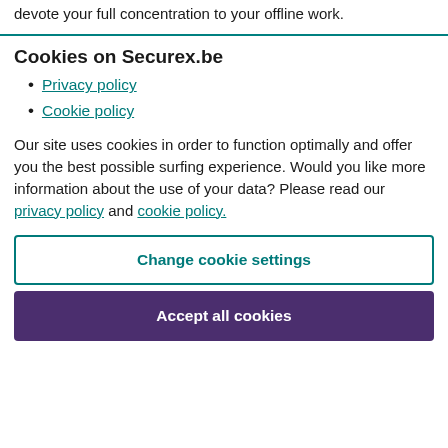devote your full concentration to your offline work.
Cookies on Securex.be
Privacy policy
Cookie policy
Our site uses cookies in order to function optimally and offer you the best possible surfing experience. Would you like more information about the use of your data? Please read our privacy policy and cookie policy.
Change cookie settings
Accept all cookies